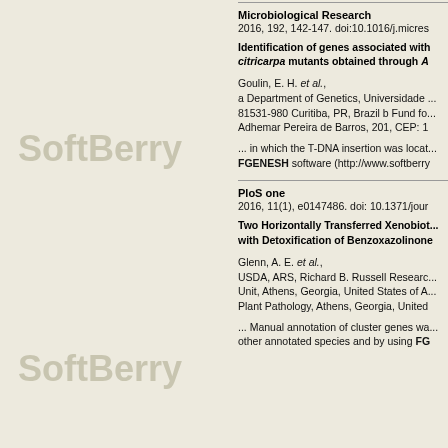SoftBerry
Microbiological Research
2016, 192, 142-147. doi:10.1016/j.micres...
Identification of genes associated with citricarpa mutants obtained through A
Goulin, E. H. et al., a Department of Genetics, Universidade ... 81531-980 Curitiba, PR, Brazil b Fund fo... Adhemar Pereira de Barros, 201, CEP: 1
... in which the T-DNA insertion was locat... FGENESH software (http://www.softberry...
SoftBerry
PloS one
2016, 11(1), e0147486. doi: 10.1371/jour...
Two Horizontally Transferred Xenobiot... with Detoxification of Benzoxazolinone
Glenn, A. E. et al., USDA, ARS, Richard B. Russell Researc... Unit, Athens, Georgia, United States of A... Plant Pathology, Athens, Georgia, United
... Manual annotation of cluster genes wa... other annotated species and by using FG...